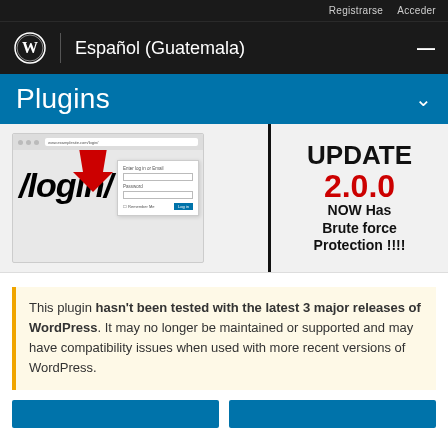Registrarse   Acceder
Español (Guatemala)
Plugins
[Figure (screenshot): WordPress plugin page screenshot showing /login/ URL with red arrow pointing at browser address bar, and a login form. Right side shows text: UPDATE 2.0.0 NOW Has Brute force Protection !!!!]
This plugin hasn't been tested with the latest 3 major releases of WordPress. It may no longer be maintained or supported and may have compatibility issues when used with more recent versions of WordPress.